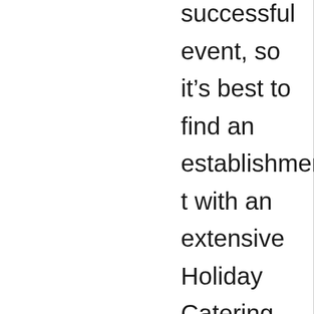successful event, so it's best to find an establishment with an extensive Holiday Catering Menu. Don't be afraid to ask about special pricing and packages as well as advice on just how much food will